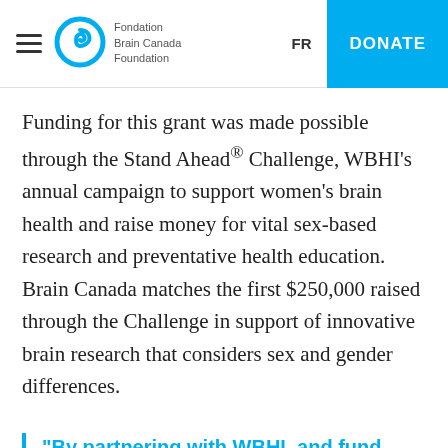Fondation Brain Canada Foundation | FR | DONATE
Funding for this grant was made possible through the Stand Ahead® Challenge, WBHI's annual campaign to support women's brain health and raise money for vital sex-based research and preventative health education. Brain Canada matches the first $250,000 raised through the Challenge in support of innovative brain research that considers sex and gender differences.
“By partnering with WBHI, and fund projects that effectively consider sex